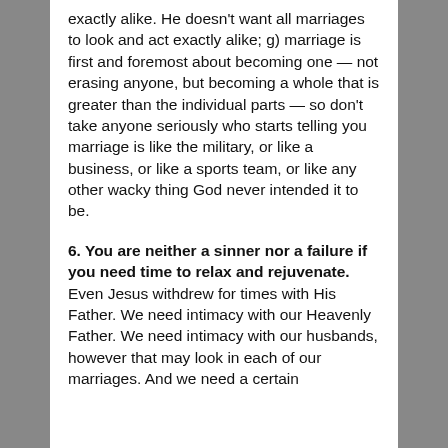exactly alike. He doesn't want all marriages to look and act exactly alike; g) marriage is first and foremost about becoming one — not erasing anyone, but becoming a whole that is greater than the individual parts — so don't take anyone seriously who starts telling you marriage is like the military, or like a business, or like a sports team, or like any other wacky thing God never intended it to be.
6. You are neither a sinner nor a failure if you need time to relax and rejuvenate. Even Jesus withdrew for times with His Father. We need intimacy with our Heavenly Father. We need intimacy with our husbands, however that may look in each of our marriages. And we need a certain